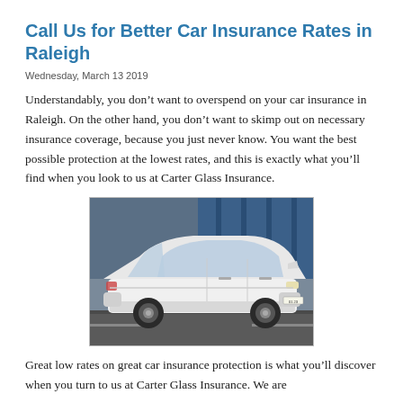Call Us for Better Car Insurance Rates in Raleigh
Wednesday, March 13 2019
Understandably, you don’t want to overspend on your car insurance in Raleigh. On the other hand, you don’t want to skimp out on necessary insurance coverage, because you just never know. You want the best possible protection at the lowest rates, and this is exactly what you’ll find when you look to us at Carter Glass Insurance.
[Figure (photo): White Ford Focus hatchback parked in front of a building with blue and glass facade]
Great low rates on great car insurance protection is what you’ll discover when you turn to us at Carter Glass Insurance. We are